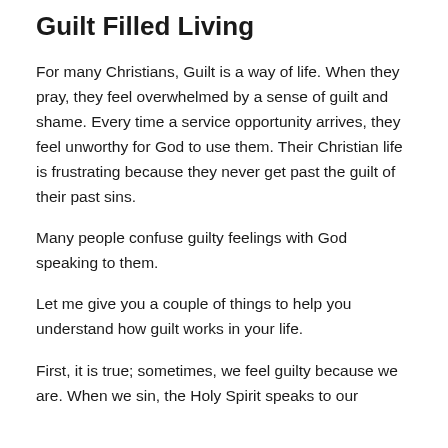Guilt Filled Living
For many Christians, Guilt is a way of life. When they pray, they feel overwhelmed by a sense of guilt and shame. Every time a service opportunity arrives, they feel unworthy for God to use them. Their Christian life is frustrating because they never get past the guilt of their past sins.
Many people confuse guilty feelings with God speaking to them.
Let me give you a couple of things to help you understand how guilt works in your life.
First, it is true; sometimes, we feel guilty because we are. When we sin, the Holy Spirit speaks to our